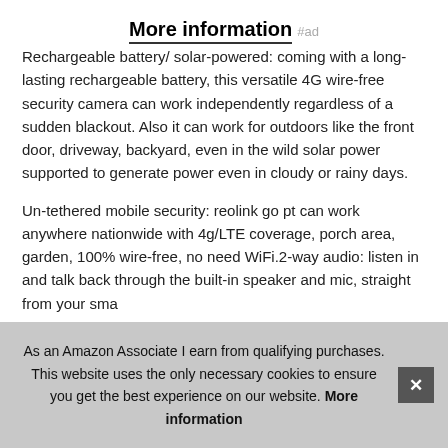More information #ad
Rechargeable battery/ solar-powered: coming with a long-lasting rechargeable battery, this versatile 4G wire-free security camera can work independently regardless of a sudden blackout. Also it can work for outdoors like the front door, driveway, backyard, even in the wild solar power supported to generate power even in cloudy or rainy days.
Un-tethered mobile security: reolink go pt can work anywhere nationwide with 4g/LTE coverage, porch area, garden, 100% wire-free, no need WiFi.2-way audio: listen in and talk back through the built-in speaker and mic, straight from your smartphone. Pan & tilt for 360° view: reolink go pt can pan from left to right 355° and tilt from up to down 140°, never miss anything around the
As an Amazon Associate I earn from qualifying purchases. This website uses the only necessary cookies to ensure you get the best experience on our website. More information